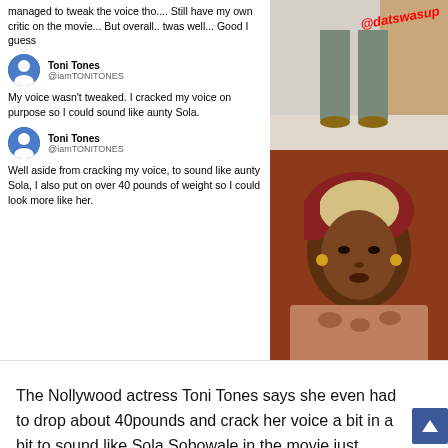[Figure (screenshot): Screenshot of tweets from @iamTONITONES (Toni Tones) with partial text at top about tweaking voice and critic on movie, followed by two tweets about cracking voice and gaining 40 pounds to sound and look like aunty Sola, alongside two photos of a person and an actress in traditional headwrap]
The Nollywood actress Toni Tones says she even had to drop about 40pounds and crack her voice a bit in a bit to sound like Sola Sobowale in the movie just screened on Netflix. For her it wasn't a straightforward process, it took some very careful planning.